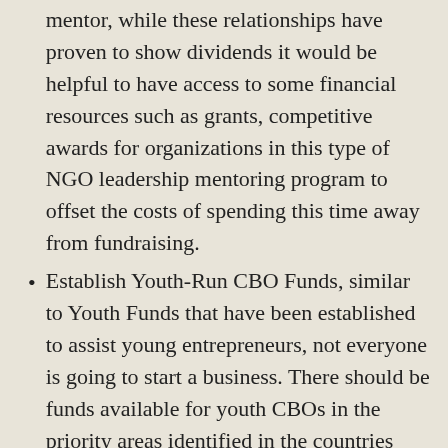mentor, while these relationships have proven to show dividends it would be helpful to have access to some financial resources such as grants, competitive awards for organizations in this type of NGO leadership mentoring program to offset the costs of spending this time away from fundraising.
Establish Youth-Run CBO Funds, similar to Youth Funds that have been established to assist young entrepreneurs, not everyone is going to start a business. There should be funds available for youth CBOs in the priority areas identified in the countries development strategy. Such as the successful Youth Bunge Model supported by USAID Kenya has more than 15,000